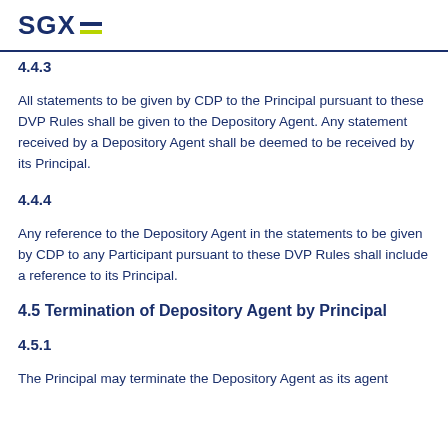SGX
4.4.3
All statements to be given by CDP to the Principal pursuant to these DVP Rules shall be given to the Depository Agent. Any statement received by a Depository Agent shall be deemed to be received by its Principal.
4.4.4
Any reference to the Depository Agent in the statements to be given by CDP to any Participant pursuant to these DVP Rules shall include a reference to its Principal.
4.5 Termination of Depository Agent by Principal
4.5.1
The Principal may terminate the Depository Agent as its agent